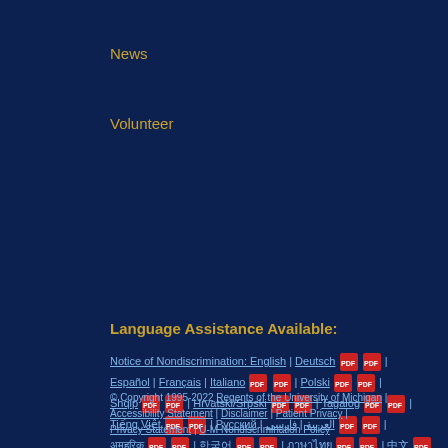News
Volunteer
Language Assistance Available:
Notice of Nondiscrimination: English | Deutsch | Español | Français | Italiano | Polski | Shqip | Hrvatski/Srpski | Tagalog | Tiếng Việt | Русский | العربية | فارسی | [various languages] | ASL
© Copyright 1995-2022 Regents of the University of Michigan | Accessibility Statement | Disclaimer | Patient Privacy | Privacy Statement | U-M Nondiscrimination Policy